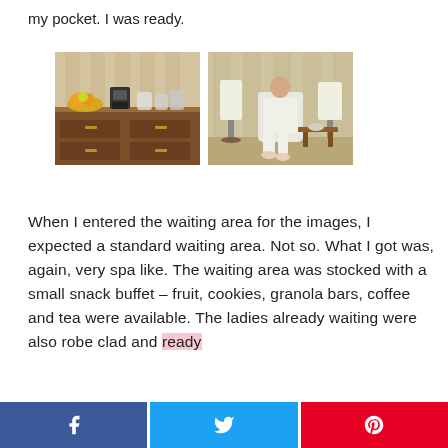my pocket. I was ready.
[Figure (photo): Two photos side by side: left photo shows a buffet/snack counter with wood cabinetry, fruit, coffee maker, and jars. Right photo shows a woman in a white robe sitting in a chair in a spa-like waiting room with lamps and curtains.]
When I entered the waiting area for the images, I expected a standard waiting area. Not so. What I got was, again, very spa like. The waiting area was stocked with a small snack buffet – fruit, cookies, granola bars, coffee and tea were available. The ladies already waiting were also robe clad and ready
Facebook share | Twitter share | Pinterest share